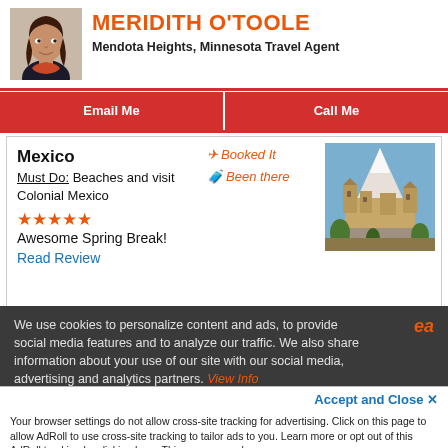[Figure (photo): Headshot photo of Meridith O'Toole, a woman with dark hair]
MERIDITH O'TOOLE
Mendota Heights, Minnesota Travel Agent
Email Me
Call Me
Mexico
Must Do: Beaches and visit Colonial Mexico
★★★★★ Awesome Spring Break!
Read Review
✈ Booked It
🧳 Been there
[Figure (photo): Photo of a Mexican colonial cathedral or fortress with a snowy volcanic mountain in the background]
We use cookies to personalize content and ads, to provide social media features and to analyze our traffic. We also share information about your use of our site with our social media, advertising and analytics partners. View Info
ea
Accept and Close ✕
Your browser settings do not allow cross-site tracking for advertising. Click on this page to allow AdRoll to use cross-site tracking to tailor ads to you. Learn more or opt out of this AdRoll tracking by clicking here. This message only appears once.